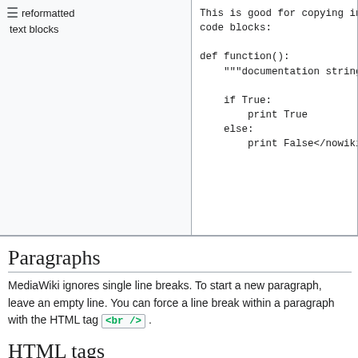|  | code |  |
| --- | --- | --- |
| reformatted text blocks | This is good for copying in code blocks:

def function():
    """documentation string"""

    if True:
        print True
    else:
        print False</nowiki> | c
b

d
"

s


P |
Paragraphs
MediaWiki ignores single line breaks. To start a new paragraph, leave an empty line. You can force a line break within a paragraph with the HTML tag <br />.
HTML tags